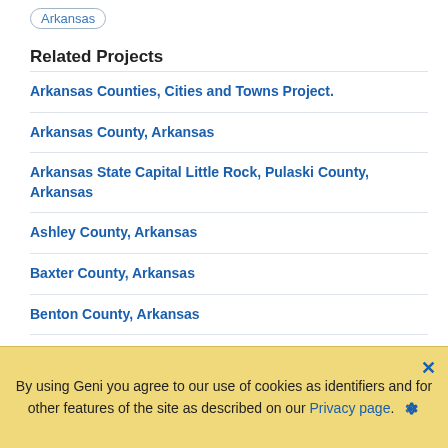Arkansas
Related Projects
Arkansas Counties, Cities and Towns Project.
Arkansas County, Arkansas
Arkansas State Capital Little Rock, Pulaski County, Arkansas
Ashley County, Arkansas
Baxter County, Arkansas
Benton County, Arkansas
Boone County, Arkansas
Bradley County, Arkansas
Calhoun County, Arkansas
By using Geni you agree to our use of cookies as identifiers and for other features of the site as described on our Privacy page.